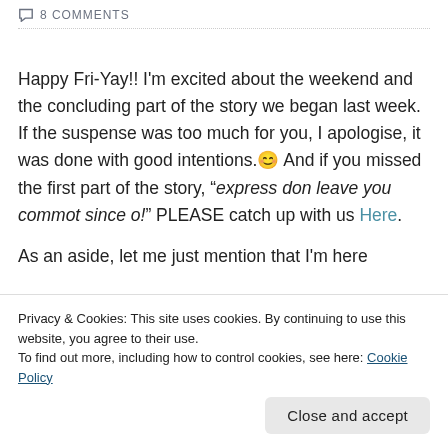8 COMMENTS
Happy Fri-Yay!! I'm excited about the weekend and the concluding part of the story we began last week. If the suspense was too much for you, I apologise, it was done with good intentions. 😊 And if you missed the first part of the story, "express don leave you commot since o!" PLEASE catch up with us Here.
As an aside, let me just mention that I'm here
Privacy & Cookies: This site uses cookies. By continuing to use this website, you agree to their use. To find out more, including how to control cookies, see here: Cookie Policy
Close and accept